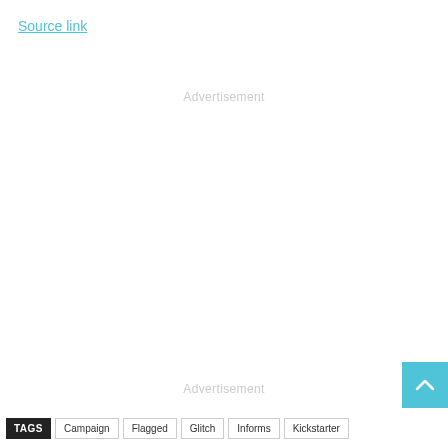Source link
Advertisement
Advertisement
[Figure (other): Scroll-to-top button, blue square with upward chevron arrow]
TAGS  Campaign  Flagged  Glitch  Informs  Kickstarter